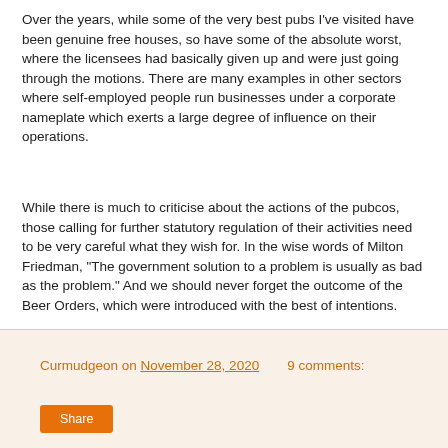Over the years, while some of the very best pubs I've visited have been genuine free houses, so have some of the absolute worst, where the licensees had basically given up and were just going through the motions. There are many examples in other sectors where self-employed people run businesses under a corporate nameplate which exerts a large degree of influence on their operations.
While there is much to criticise about the actions of the pubcos, those calling for further statutory regulation of their activities need to be very careful what they wish for. In the wise words of Milton Friedman, "The government solution to a problem is usually as bad as the problem." And we should never forget the outcome of the Beer Orders, which were introduced with the best of intentions.
Curmudgeon on November 28, 2020   9 comments:   Share